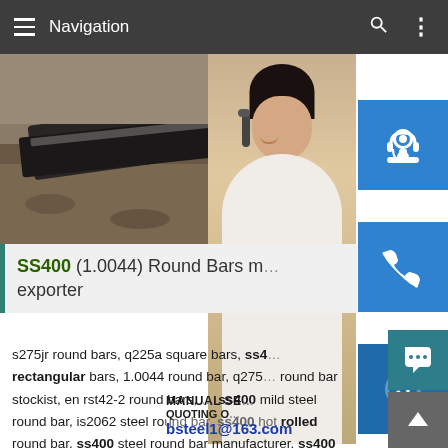Navigation
[Figure (screenshot): Mobile web page screenshot showing a navigation bar with hamburger menu labeled 'Navigation', a hero image of steel rails/tracks on the left, a customer service representative photo on the right with blue icon buttons for support, phone, and Skype, an article heading about SS400 Round Bars, body text about steel products, and a manual quoting/email overlay with bsteel1@163.com]
SS400 (1.0044) Round Bars manufacturer, exporter
s275jr round bars, q225a square bars, ss400 rectangular bars, 1.0044 round bar, q275 round bar stockist, en rst42-2 round bars, ss400 mild steel round bar, is2062 steel round bar, ss400 hot rolled round bar, ss400 steel round bar manufacturer, ss400 round bar exporter, s275jr cold rolled round bar, ss 400 high tensile round bar ...sp.infoSS400 (1.0044) Round Bars manufacturer, exporterSS400 Cold Rolled Round Bars, 1.0044 Steel Round SS400 Polished Round Bar Supplier, SS400 Steel Round Ba